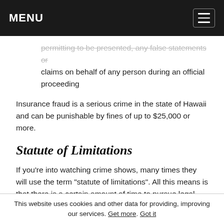MENU
permitting to be presented, any false statements or claims on behalf of any person during an official proceeding
Insurance fraud is a serious crime in the state of Hawaii and can be punishable by fines of up to $25,000 or more.
Statute of Limitations
If you’re into watching crime shows, many times they will use the term “statute of limitations”. All this means is that there is a certain amount of time to pursue legal action against a crime that was committed against you.
When we’re talking about auto insurance and the statute of
This website uses cookies and other data for providing, improving our services. Get more. Got it